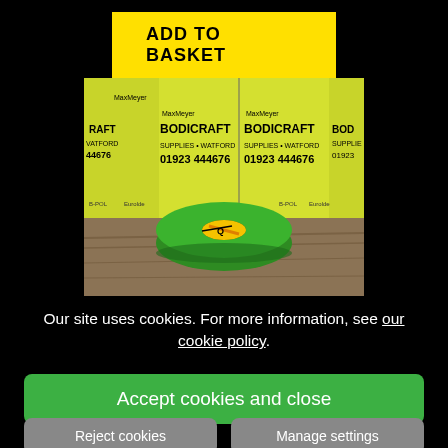ADD TO BASKET
[Figure (photo): Green masking tape roll in front of yellow MaxMeyer Bodicraft Supplies Watford boxes showing phone number 01923 444676]
Our site uses cookies. For more information, see our cookie policy.
Accept cookies and close
Reject cookies
Manage settings